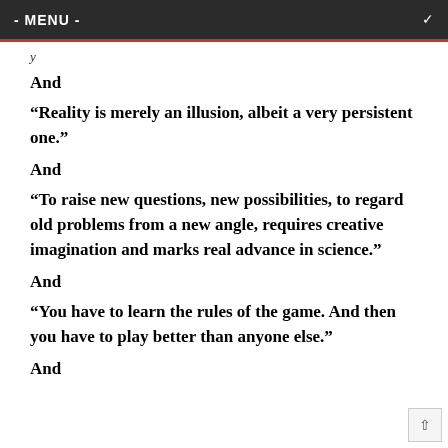- MENU -
y
And
“Reality is merely an illusion, albeit a very persistent one.”
And
“To raise new questions, new possibilities, to regard old problems from a new angle, requires creative imagination and marks real advance in science.”
And
“You have to learn the rules of the game. And then you have to play better than anyone else.”
And